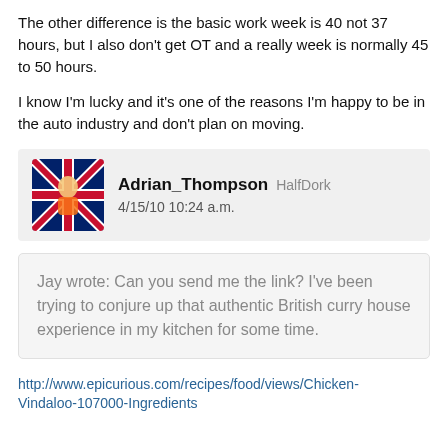The other difference is the basic work week is 40 not 37 hours, but I also don't get OT and a really week is normally 45 to 50 hours.
I know I'm lucky and it's one of the reasons I'm happy to be in the auto industry and don't plan on moving.
Adrian_Thompson HalfDork 4/15/10 10:24 a.m.
Jay wrote: Can you send me the link? I've been trying to conjure up that authentic British curry house experience in my kitchen for some time.
http://www.epicurious.com/recipes/food/views/Chicken-Vindaloo-107000-Ingredients